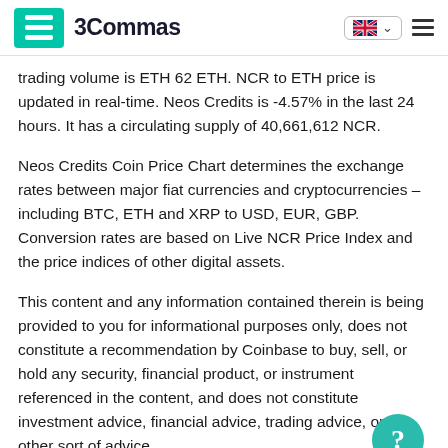3Commas
trading volume is ETH 62 ETH. NCR to ETH price is updated in real-time. Neos Credits is -4.57% in the last 24 hours. It has a circulating supply of 40,661,612 NCR.
Neos Credits Coin Price Chart determines the exchange rates between major fiat currencies and cryptocurrencies – including BTC, ETH and XRP to USD, EUR, GBP. Conversion rates are based on Live NCR Price Index and the price indices of other digital assets.
This content and any information contained therein is being provided to you for informational purposes only, does not constitute a recommendation by Coinbase to buy, sell, or hold any security, financial product, or instrument referenced in the content, and does not constitute investment advice, financial advice, trading advice, or any other sort of advice.